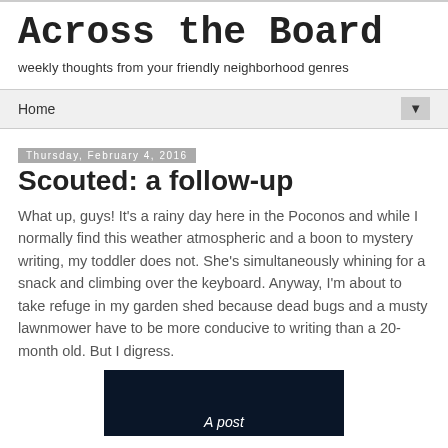Across the Board
weekly thoughts from your friendly neighborhood genres
Home ▼
Thursday, February 4, 2016
Scouted: a follow-up
What up, guys! It's a rainy day here in the Poconos and while I normally find this weather atmospheric and a boon to mystery writing, my toddler does not. She's simultaneously whining for a snack and climbing over the keyboard. Anyway, I'm about to take refuge in my garden shed because dead bugs and a musty lawnmower have to be more conducive to writing than a 20-month old.  But I digress.
[Figure (photo): Dark background image with white italic text reading 'A post']